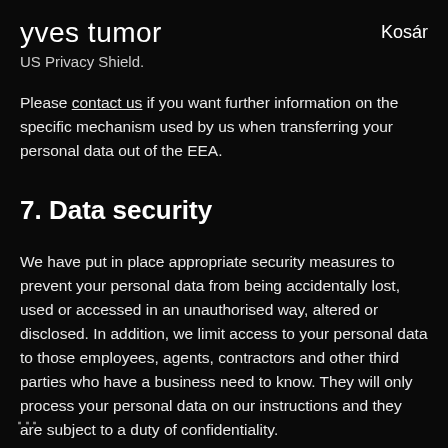yves tumor   Kosár
US Privacy Shield.
Please contact us if you want further information on the specific mechanism used by us when transferring your personal data out of the EEA.
7. Data security
We have put in place appropriate security measures to prevent your personal data from being accidentally lost, used or accessed in an unauthorised way, altered or disclosed. In addition, we limit access to your personal data to those employees, agents, contractors and other third parties who have a business need to know. They will only process your personal data on our instructions and they are subject to a duty of confidentiality.
⋮